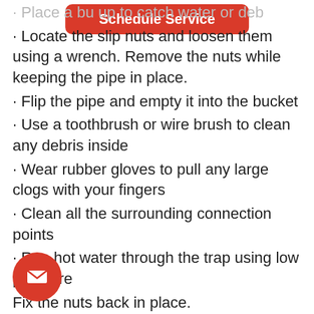[Figure (other): Red rounded rectangle button with white bold text 'Schedule Service']
· Place a bucket up to catch water or debris (partial, cut off at top)
· Locate the slip nuts and loosen them using a wrench. Remove the nuts while keeping the pipe in place.
· Flip the pipe and empty it into the bucket
· Use a toothbrush or wire brush to clean any debris inside
· Wear rubber gloves to pull any large clogs with your fingers
· Clean all the surrounding connection points
· Run hot water through the trap using low pressure
Fix the nuts back in place.
Plumber's Snake
e are clogs down the system, they can be difficult to clear. Using an auger or
[Figure (illustration): Red circular button with white envelope/email icon]